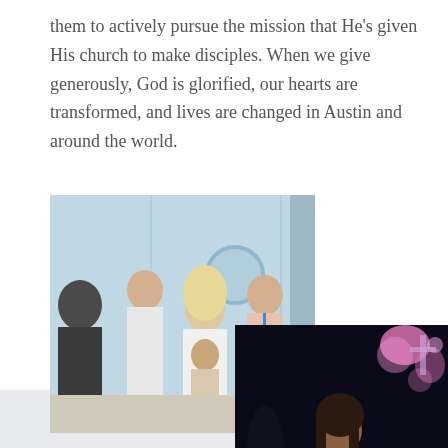them to actively pursue the mission that He's given His church to make disciples. When we give generously, God is glorified, our hearts are transformed, and lives are changed in Austin and around the world.
[Figure (photo): Two overlapping photos: top-left shows a group of people at an event with light blue banners in the background, including a woman with blonde hair greeting someone; bottom-right shows a woman in a teal shirt at what appears to be a church or conference event with stage lighting.]